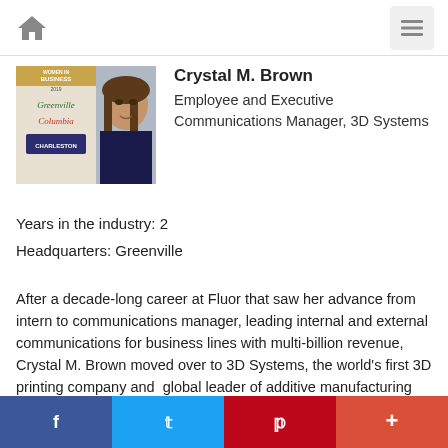Navigation bar with home icon and menu icon
[Figure (photo): Profile photo of Crystal M. Brown alongside Women in Business magazine cover featuring Greenville, Columbia, Charleston]
Crystal M. Brown
Employee and Executive Communications Manager, 3D Systems
Years in the industry: 2
Headquarters: Greenville
After a decade-long career at Fluor that saw her advance from intern to communications manager, leading internal and external communications for business lines with multi-billion revenue, Crystal M. Brown moved over to 3D Systems, the world's first 3D printing company and  global leader of additive manufacturing solutions. The company
Social share bar: Facebook, Twitter, Pinterest, Plus